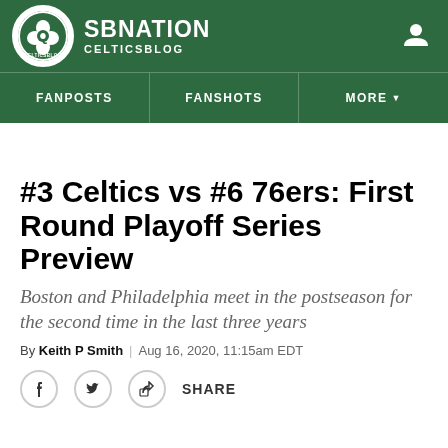SB NATION — CELTICSBLOG
#3 Celtics vs #6 76ers: First Round Playoff Series Preview
Boston and Philadelphia meet in the postseason for the second time in the last three years
By Keith P Smith | Aug 16, 2020, 11:15am EDT
SHARE